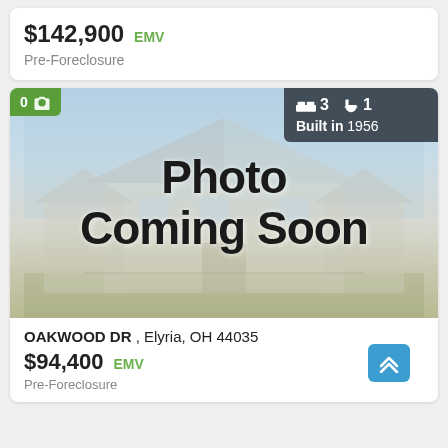$142,900 EMV
Pre-Foreclosure
[Figure (photo): Property listing card showing 'Photo Coming Soon' placeholder over a blurred house image. Badge shows 0 photos. Info badge shows 3 bedrooms, 1 bathroom, Built in 1956.]
OAKWOOD DR , Elyria, OH 44035
$94,400 EMV
Pre-Foreclosure